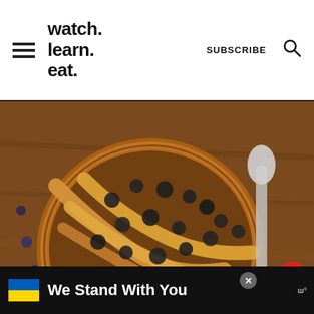watch. learn. eat. | SUBSCRIBE
[Figure (photo): Overhead view of a mason jar filled with oatmeal or chia pudding, topped with peanut butter drizzle and chocolate chips, on a wooden board]
109
WHAT'S NEXT → Vegan Peanut Butter...
[Figure (photo): Ad banner: Ukraine flag colors with text 'We Stand With You']